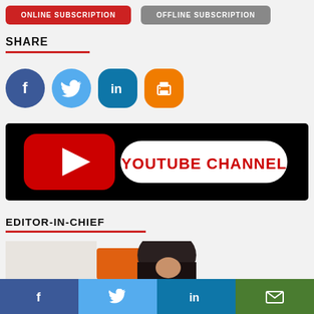[Figure (other): Two subscription buttons: ONLINE SUBSCRIPTION (red) and OFFLINE SUBSCRIPTION (gray)]
SHARE
[Figure (other): Social share icons: Facebook (dark blue circle), Twitter (light blue circle), LinkedIn (teal rounded), Print (orange rounded)]
[Figure (other): YouTube Channel banner: black background with red YouTube play button logo and white pill shape reading YOUTUBE CHANNEL in red text]
EDITOR-IN-CHIEF
[Figure (photo): Partial photo of a person wearing orange, with dark hair visible]
[Figure (other): Bottom share bar with four sections: Facebook (blue, f icon), Twitter (light blue, bird icon), LinkedIn (dark blue, in icon), Email (green, envelope icon)]